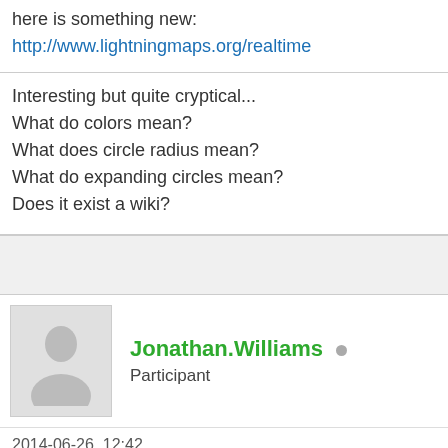here is something new: http://www.lightningmaps.org/realtime
Interesting but quite cryptical...
What do colors mean?
What does circle radius mean?
What do expanding circles mean?
Does it exist a wiki?
Jonathan.Williams  Participant
2014-06-26, 12:42
jumpjack Wrote: →
Tobi Wrote: →
Hi folks,